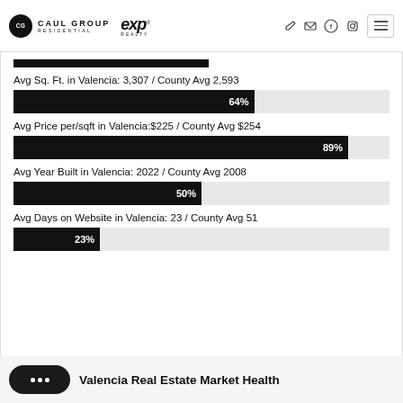CAUL GROUP RESIDENTIAL | eXp Realty
[Figure (bar-chart): Avg Sq. Ft. in Valencia: 3,307 / County Avg 2,593]
Avg Sq. Ft. in Valencia: 3,307 / County Avg 2,593
[Figure (bar-chart): Avg Price per/sqft in Valencia: $225 / County Avg $254]
Avg Price per/sqft in Valencia:$225 / County Avg $254
[Figure (bar-chart): Avg Year Built in Valencia: 2022 / County Avg 2008]
Avg Year Built in Valencia: 2022 / County Avg 2008
[Figure (bar-chart): Avg Days on Website in Valencia: 23 / County Avg 51]
Avg Days on Website in Valencia: 23 / County Avg 51
Valencia Real Estate Market Health